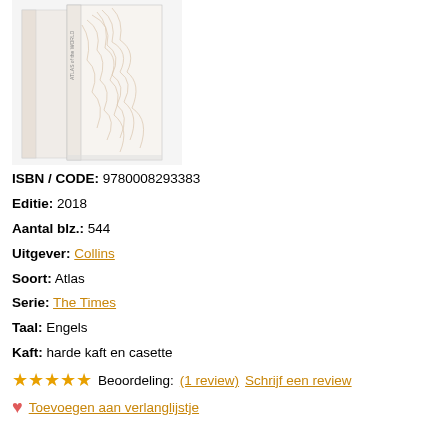[Figure (photo): Two white hardcover books titled 'Atlas of the World' standing upright, showing spine and cover with abstract topographic line art design.]
ISBN / CODE: 9780008293383
Editie: 2018
Aantal blz.: 544
Uitgever: Collins
Soort: Atlas
Serie: The Times
Taal: Engels
Kaft: harde kaft en casette
★★★★★ Beoordeling: (1 review) Schrijf een review
♥ Toevoegen aan verlanglijstje